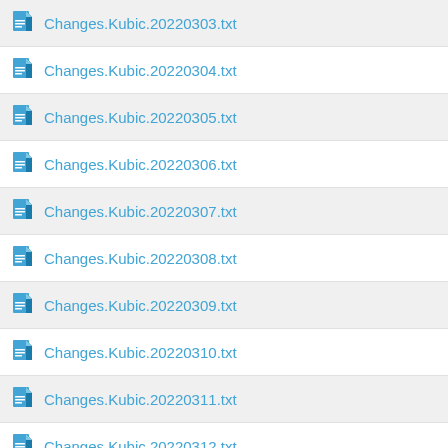Changes.Kubic.20220303.txt
Changes.Kubic.20220304.txt
Changes.Kubic.20220305.txt
Changes.Kubic.20220306.txt
Changes.Kubic.20220307.txt
Changes.Kubic.20220308.txt
Changes.Kubic.20220309.txt
Changes.Kubic.20220310.txt
Changes.Kubic.20220311.txt
Changes.Kubic.20220312.txt
Changes.Kubic.20220313.txt
Changes.Kubic.20220314.txt
Changes.Kubic.20220316.txt